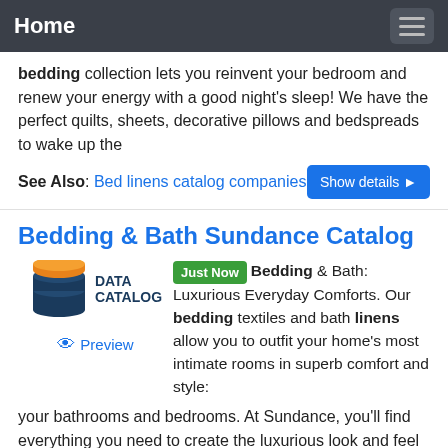Home
bedding collection lets you reinvent your bedroom and renew your energy with a good night's sleep! We have the perfect quilts, sheets, decorative pillows and bedspreads to wake up the
See Also: Bed linens catalog companies
Show details ▶
Bedding & Bath Sundance Catalog
[Figure (logo): Data Catalog logo with stacked orange and dark blue cylinders representing a database, with text DATA CATALOG beside it]
Just Now Bedding & Bath: Luxurious Everyday Comforts. Our bedding textiles and bath linens allow you to outfit your home's most intimate rooms in superb comfort and style: your bathrooms and bedrooms. At Sundance, you'll find everything you need to create the luxurious look and feel you crave in these personal, peaceful spaces.
Preview